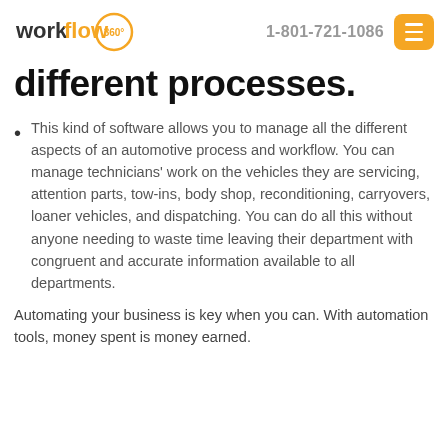workflow 360° | 1-801-721-1086
different processes.
This kind of software allows you to manage all the different aspects of an automotive process and workflow. You can manage technicians' work on the vehicles they are servicing, attention parts, tow-ins, body shop, reconditioning, carryovers, loaner vehicles, and dispatching. You can do all this without anyone needing to waste time leaving their department with congruent and accurate information available to all departments.
Automating your business is key when you can. With automation tools, money spent is money earned.